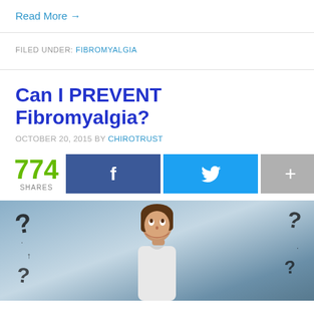Read More →
FILED UNDER: FIBROMYALGIA
Can I PREVENT Fibromyalgia?
OCTOBER 20, 2015 BY CHIROTRUST
774 SHARES
[Figure (photo): Woman with question marks around her, thinking pose, on a gray-blue background]